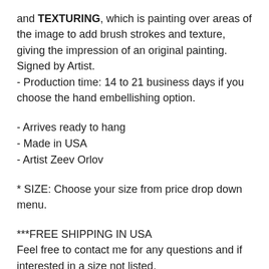and TEXTURING, which is painting over areas of the image to add brush strokes and texture, giving the impression of an original painting.
Signed by Artist.
- Production time: 14 to 21 business days if you choose the hand embellishing option.
- Arrives ready to hang
- Made in USA
- Artist Zeev Orlov
* SIZE: Choose your size from price drop down menu.
***FREE SHIPPING IN USA
Feel free to contact me for any questions and if interested in a size not listed.